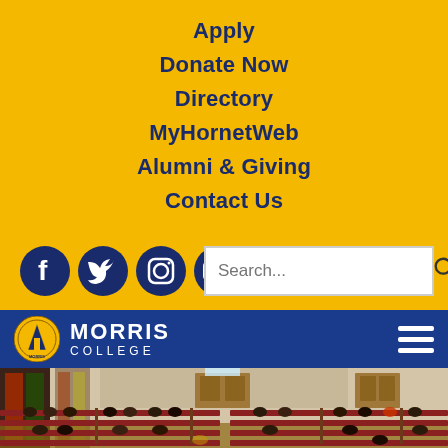Apply
Donate Now
Directory
MyHornetWeb
Alumni & Giving
Contact Us
[Figure (logo): Social media icons: Facebook, Twitter, Instagram, YouTube — dark navy circles with white icons]
[Figure (screenshot): Search bar with placeholder text 'Search...' and magnifying glass icon]
[Figure (logo): Morris College logo: gold circle with triangle/lighthouse emblem and white MORRIS COLLEGE text on blue navigation bar]
[Figure (photo): Interior of a chapel/auditorium with people seated in red wooden pews. Stained glass windows on the left, plain walls, wooden doors at the back.]